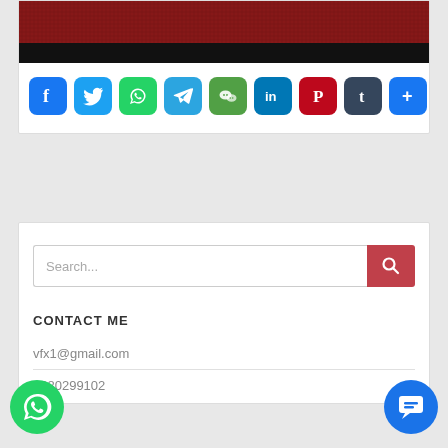[Figure (illustration): Banner image with red textured fabric at top and a black bar below]
[Figure (infographic): Row of social media share icons: Facebook, Twitter, WhatsApp, Telegram, WeChat, LinkedIn, Pinterest, Tumblr, More (+)]
[Figure (screenshot): Search bar with placeholder 'Search...' and a red search button with magnifying glass icon]
CONTACT ME
vfx1@gmail.com
9680299102